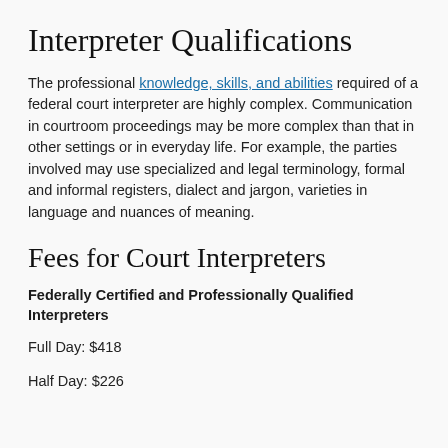Interpreter Qualifications
The professional knowledge, skills, and abilities required of a federal court interpreter are highly complex. Communication in courtroom proceedings may be more complex than that in other settings or in everyday life. For example, the parties involved may use specialized and legal terminology, formal and informal registers, dialect and jargon, varieties in language and nuances of meaning.
Fees for Court Interpreters
Federally Certified and Professionally Qualified Interpreters
Full Day: $418
Half Day: $226